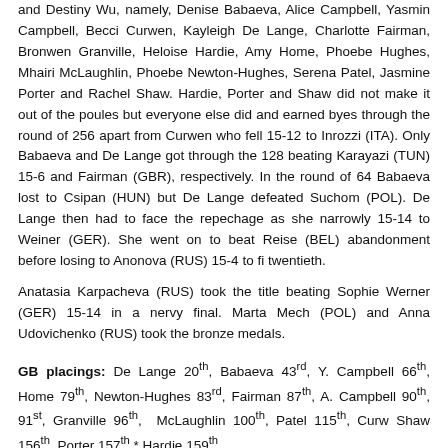and Destiny Wu, namely, Denise Babaeva, Alice Campbell, Yasmin Campbell, Becci Curwen, Kayleigh De Lange, Charlotte Fairman, Bronwen Granville, Heloise Hardie, Amy Home, Phoebe Hughes, Mhairi McLaughlin, Phoebe Newton-Hughes, Serena Patel, Jasmine Porter and Rachel Shaw. Hardie, Porter and Shaw did not make it out of the poules but everyone else did and earned byes through the round of 256 apart from Curwen who fell 15-12 to Inrozzi (ITA). Only Babaeva and De Lange got through the 128 beating Karayazi (TUN) 15-6 and Fairman (GBR), respectively. In the round of 64 Babaeva lost to Csipan (HUN) but De Lange defeated Suchom (POL). De Lange then had to face the repechage as she narrowly 15-14 to Weiner (GER). She went on to beat Reise (BEL) abandonment before losing to Anonova (RUS) 15-4 to fi twentieth.
Anatasia Karpacheva (RUS) took the title beating Sophie Werner (GER) 15-14 in a nervy final. Marta Mech (POL) and Anna Udovichenko (RUS) took the bronze medals.
GB placings: De Lange 20th, Babaeva 43rd, Y. Campbell 66th, Home 79th, Newton-Hughes 83rd, Fairman 87th, A. Campbell 90th, 91st, Granville 96th, McLaughlin 100th, Patel 115th, Curwen Shaw 156th, Porter 157th * Hardie 159th.